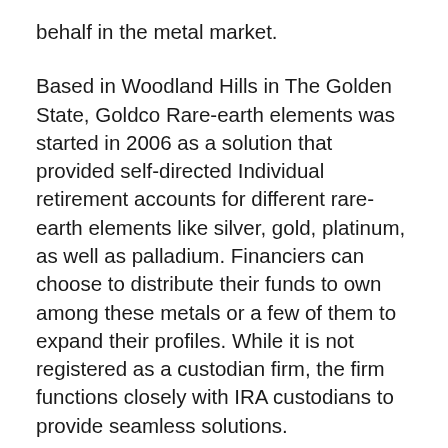behalf in the metal market.
Based in Woodland Hills in The Golden State, Goldco Rare-earth elements was started in 2006 as a solution that provided self-directed Individual retirement accounts for different rare-earth elements like silver, gold, platinum, as well as palladium. Financiers can choose to distribute their funds to own among these metals or a few of them to expand their profiles. While it is not registered as a custodian firm, the firm functions closely with IRA custodians to provide seamless solutions.
Investing In Gold And Silver Bullion
Goldco has come to be significantly preferred